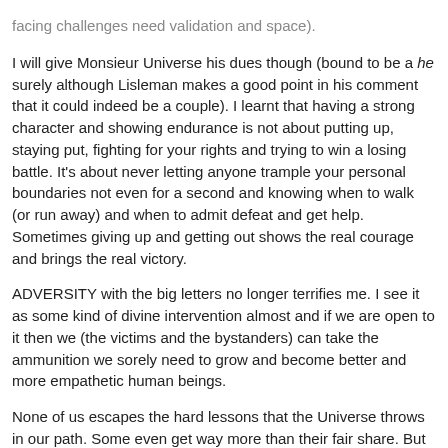facing challenges need validation and space).
I will give Monsieur Universe his dues though (bound to be a he surely although Lisleman makes a good point in his comment that it could indeed be a couple). I learnt that having a strong character and showing endurance is not about putting up, staying put, fighting for your rights and trying to win a losing battle. It's about never letting anyone trample your personal boundaries not even for a second and knowing when to walk (or run away) and when to admit defeat and get help. Sometimes giving up and getting out shows the real courage and brings the real victory.
ADVERSITY with the big letters no longer terrifies me. I see it as some kind of divine intervention almost and if we are open to it then we (the victims and the bystanders) can take the ammunition we sorely need to grow and become better and more empathetic human beings.
None of us escapes the hard lessons that the Universe throws in our path. Some even get way more than their fair share. But next time big fella, I am ready for you, even though you won't exactly find me hanging around waiting!